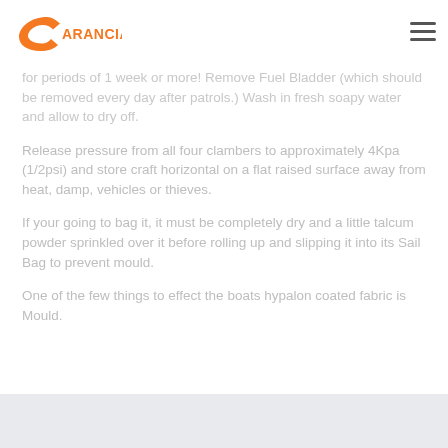[Figure (logo): Carancia logo - orange C shape with ARANCIA text]
for periods of 1 week or more! Remove. Fuel Bladder (which should be removed every day after patrols.) Wash in fresh soapy water and allow to dry off.
Release pressure from all four clambers to approximately 4Kpa (1/2psi) and store craft horizontal on a flat raised surface away from heat, damp, vehicles or thieves.
If your going to bag it, it must be completely dry and a little talcum powder sprinkled over it before rolling up and slipping it into its Sail Bag to prevent mould.
One of the few things to effect the boats hypalon coated fabric is Mould.